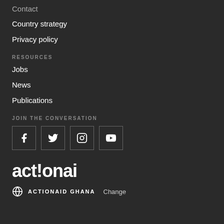Contact
Country strategy
Privacy policy
RESOURCES
Jobs
News
Publications
JOIN THE CONVERSATION
[Figure (other): Social media icons: Facebook, Twitter, Instagram, YouTube]
[Figure (logo): ActionAid logo in white text]
ACTIONAID GHANA Change